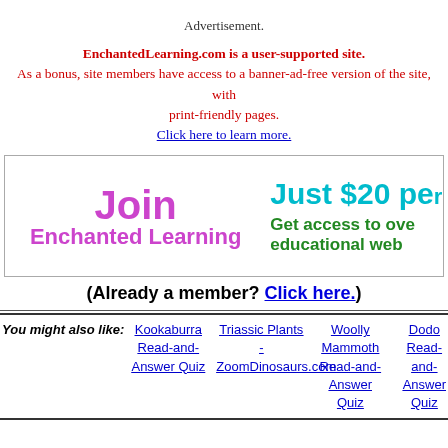Advertisement.
EnchantedLearning.com is a user-supported site. As a bonus, site members have access to a banner-ad-free version of the site, with print-friendly pages. Click here to learn more.
[Figure (infographic): Join Enchanted Learning promo box — Just $20 per year. Get access to over educational web pages.]
(Already a member? Click here.)
You might also like: Kookaburra Read-and-Answer Quiz | Triassic Plants - ZoomDinosaurs.com | Woolly Mammoth Read-and-Answer Quiz | Dodo Read-and-Answer Quiz | Hippo Read-and-Answer Quiz